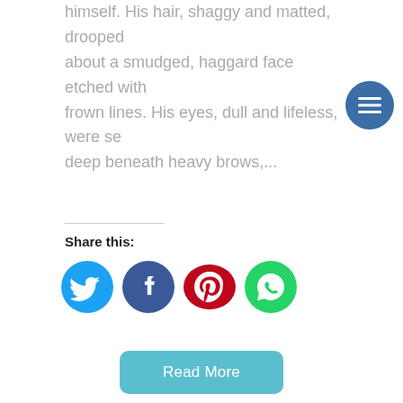himself. His hair, shaggy and matted, drooped about a smudged, haggard face etched with frown lines. His eyes, dull and lifeless, were set deep beneath heavy brows,...
Share this:
[Figure (infographic): Social sharing icons: Twitter (blue circle), Facebook (dark blue circle), Pinterest (red oval), WhatsApp (green circle)]
Read More
Tolerance–The New Secular Mor...
February 24, 2017  admin  1 comment
There are those in our increasingly secular world...